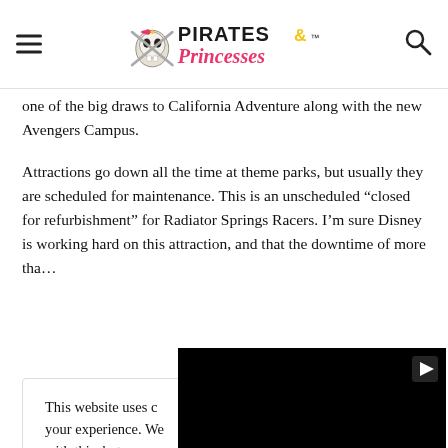Pirates & Princesses
one of the big draws to California Adventure along with the new Avengers Campus.
Attractions go down all the time at theme parks, but usually they are scheduled for maintenance. This is an unscheduled “closed for refurbishment” for Radiator Springs Racers. I’m sure Disney is working hard on this attraction, and that the downtime of more tha…
This website uses cookies to improve your experience. We’ll assume you’re ok with this, but you can opt-out if you wish.
Cookie settings